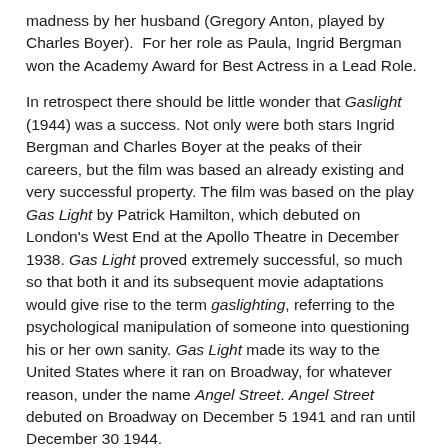madness by her husband (Gregory Anton, played by Charles Boyer).  For her role as Paula, Ingrid Bergman won the Academy Award for Best Actress in a Lead Role.
In retrospect there should be little wonder that Gaslight (1944) was a success. Not only were both stars Ingrid Bergman and Charles Boyer at the peaks of their careers, but the film was based an already existing and very successful property. The film was based on the play Gas Light by Patrick Hamilton, which debuted on London's West End at the Apollo Theatre in December 1938. Gas Light proved extremely successful, so much so that both it and its subsequent movie adaptations would give rise to the term gaslighting, referring to the psychological manipulation of someone into questioning his or her own sanity. Gas Light made its way to the United States where it ran on Broadway, for whatever reason, under the name Angel Street. Angel Street debuted on Broadway on December 5 1941 and ran until December 30 1944.
The popularity of the play Gas Light in the United Kingdom guaranteed that there would be a film adaptation. Indeed, the